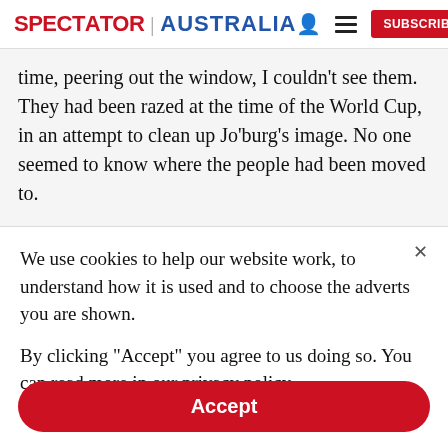SPECTATOR | AUSTRALIA
time, peering out the window, I couldn't see them. They had been razed at the time of the World Cup, in an attempt to clean up Jo'burg's image. No one seemed to know where the people had been moved to.
We use cookies to help our website work, to understand how it is used and to choose the adverts you are shown.
By clicking "Accept" you agree to us doing so. You can read more in our privacy policy.
Accept